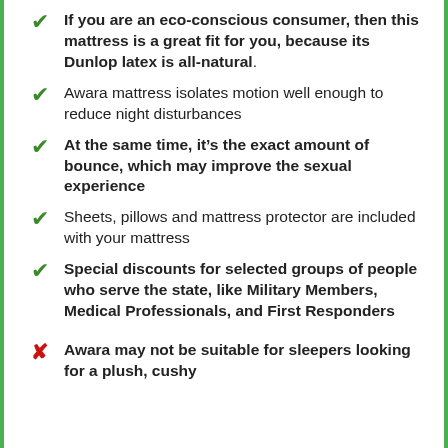If you are an eco-conscious consumer, then this mattress is a great fit for you, because its Dunlop latex is all-natural.
Awara mattress isolates motion well enough to reduce night disturbances
At the same time, it's the exact amount of bounce, which may improve the sexual experience
Sheets, pillows and mattress protector are included with your mattress
Special discounts for selected groups of people who serve the state, like Military Members, Medical Professionals, and First Responders
Awara may not be suitable for sleepers looking for a plush, cushy